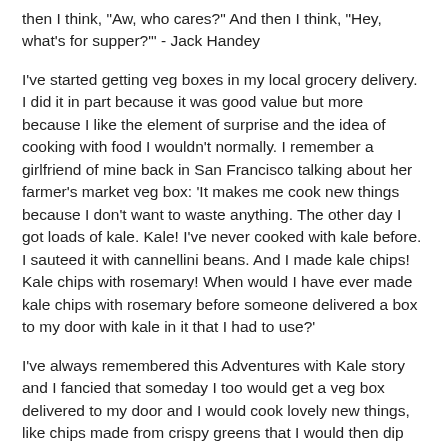then I think, "Aw, who cares?" And then I think, "Hey, what's for supper?"' - Jack Handey
I've started getting veg boxes in my local grocery delivery. I did it in part because it was good value but more because I like the element of surprise and the idea of cooking with food I wouldn't normally. I remember a girlfriend of mine back in San Francisco talking about her farmer's market veg box: 'It makes me cook new things because I don't want to waste anything. The other day I got loads of kale. Kale! I've never cooked with kale before. I sauteed it with cannellini beans. And I made kale chips! Kale chips with rosemary! When would I have ever made kale chips with rosemary before someone delivered a box to my door with kale in it that I had to use?'
I've always remembered this Adventures with Kale story and I fancied that someday I too would get a veg box delivered to my door and I would cook lovely new things, like chips made from crispy greens that I would then dip into freshly-mashed avocados in my volcanic-rock mortar bowl while my homemade ricotta is curdling away in the background.